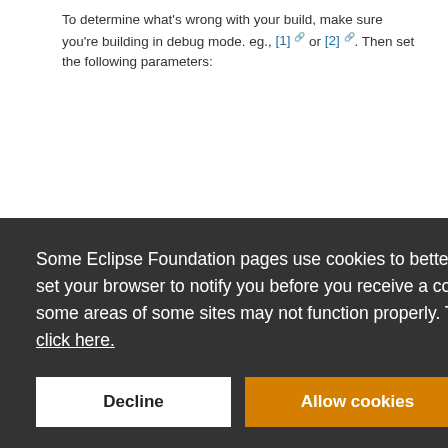To determine what's wrong with your build, make sure you're building in debug mode. eg., [1] or [2]. Then set the following parameters:
Some Eclipse Foundation pages use cookies to better serve you when you return to the site. You can set your browser to notify you before you receive a cookie or turn off cookies. If you do so, however, some areas of some sites may not function properly. To read Eclipse Foundation Privacy Policy click here.
Decline
Allow cookies
alias ddd -ddb; lastbids